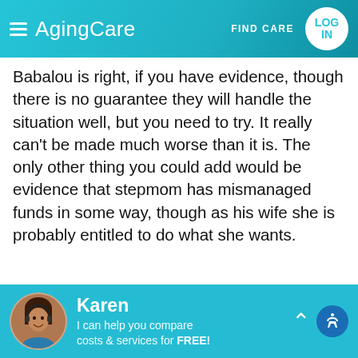AgingCare | FIND CARE | LOG IN
Babalou is right, if you have evidence, though there is no guarantee they will handle the situation well, but you need to try. It really can't be made much worse than it is. The only other thing you could add would be evidence that stepmom has mismanaged funds in some way, though as his wife she is probably entitled to do what she wants.
Helpful Answer (2)   Report
ADVERTISEMENT
[Figure (screenshot): Advertisement banner with colorful flowers on left and red background with bold text on right]
Karen — I can help you compare costs & services for FREE!